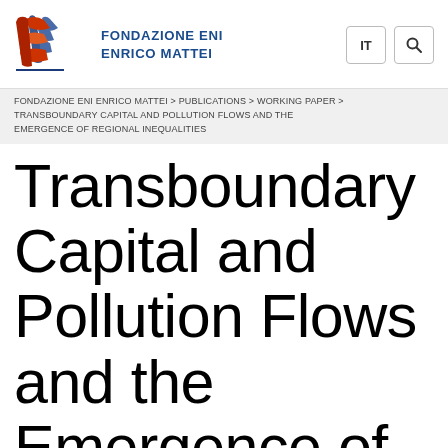[Figure (logo): Fondazione Eni Enrico Mattei logo with stylized 'EE' letters in red/orange and blue tones]
FONDAZIONE ENI ENRICO MATTEI
FONDAZIONE ENI ENRICO MATTEI > PUBLICATIONS > WORKING PAPER > TRANSBOUNDARY CAPITAL AND POLLUTION FLOWS AND THE EMERGENCE OF REGIONAL INEQUALITIES
Transboundary Capital and Pollution Flows and the Emergence of Regional